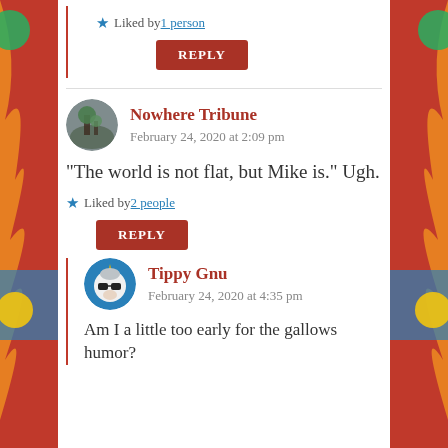Liked by 1 person
REPLY
Nowhere Tribune
February 24, 2020 at 2:09 pm
“The world is not flat, but Mike is.” Ugh.
Liked by 2 people
REPLY
Tippy Gnu
February 24, 2020 at 4:35 pm
Am I a little too early for the gallows humor?